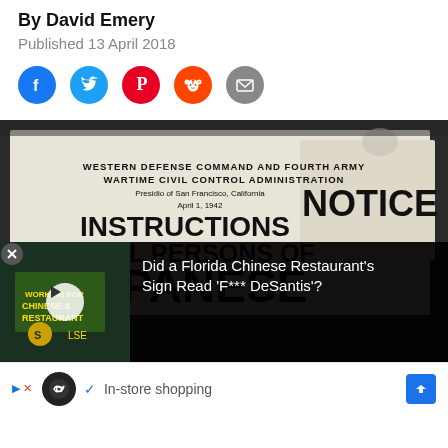By David Emery
Published 13 April 2018
[Figure (infographic): Social sharing icons: Facebook, Twitter, Pinterest, Reddit, Email]
[Figure (photo): Black and white photo of WWII-era sign reading: WESTERN DEFENSE COMMAND AND FOURTH ARMY WARTIME CIVIL CONTROL ADMINISTRATION Presidio of San Francisco, California April 1, 1942 INSTRUCTIONS TO ALL PERSONS OF JAPANESE [ancestry] and a NOTICE sign visible on the right]
Did a Florida Chinese Restaurant's Sign Read 'F*** DeSantis'?
In-store shopping